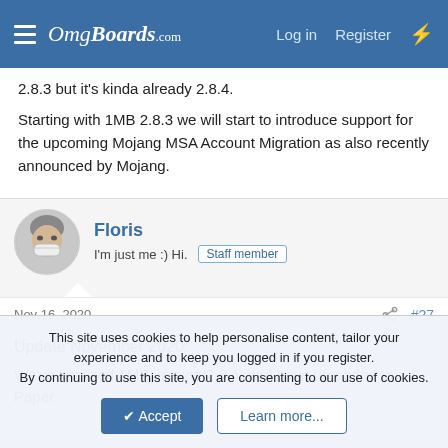OmgBoards.com — Log in  Register
2.8.3 but it's kinda already 2.8.4.
Starting with 1MB 2.8.3 we will start to introduce support for the upcoming Mojang MSA Account Migration as also recently announced by Mojang.
Floris
I'm just me :) Hi.  Staff member
Nov 16, 2020  #27
Update November 2020:
We've finalized 1MB version 2.8.4, and have upgraded to Paper
This site uses cookies to help personalise content, tailor your experience and to keep you logged in if you register.
By continuing to use this site, you are consenting to our use of cookies.